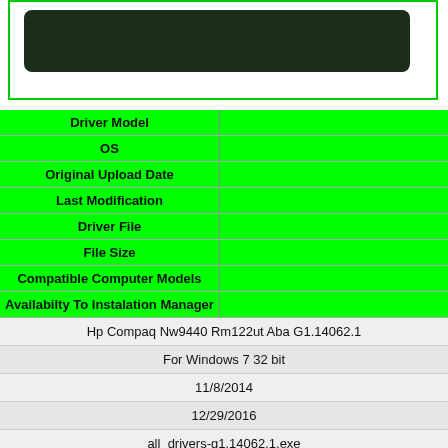[Figure (screenshot): Dark rounded rectangle bar on white background inside green border box]
| Driver Model | OS | Original Upload Date | Last Modification | Driver File | File Size | Compatible Computer Models | Availabilty To Instalation Manager |
| --- | --- | --- | --- | --- | --- | --- | --- |
| Hp Compaq Nw9440 Rm122ut Aba G1.14062.1 |  |
| For Windows 7 32 bit |  |
| 11/8/2014 |  |
| 12/29/2016 |  |
| all_drivers-g1.14062.1.exe |  |
| 153kb |  |
| msung SX60P, Acer Aspire 8730G, HP P6-2463eo, HP Ps351aa-abs d1260.se, Prosys Prosys, Acer Aspire M1850, Toshiba TELLITE C850-A798, Compaq PX697AA-ABZ SR1419IT IT520, |  |
|  |  |